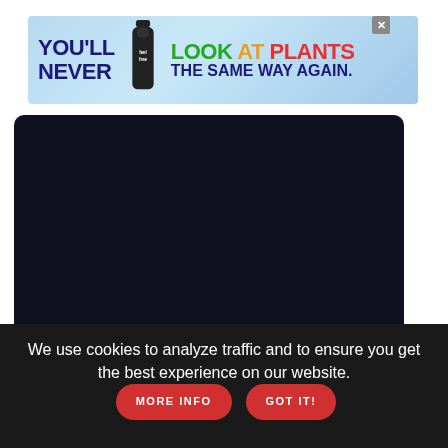[Figure (illustration): Advertising banner with colorful text reading 'YOU'LL NEVER LOOK AT PLANTS THE SAME WAY AGAIN.' with a bottle image and close button (X) in top right.]
[Figure (other): Dark navy/black rectangular box occupying the main content area of the page.]
We use cookies to analyze traffic and to ensure you get the best experience on our website.
MORE INFO
GOT IT!